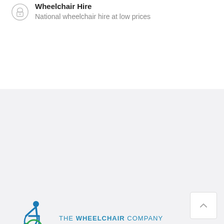Wheelchair Hire
National wheelchair hire at low prices
[Figure (logo): The Wheelchair Company logo — stylized cyclist figure in blue and green, with text 'THE WHEELCHAIR COMPANY']
Unit 5 Vander House, Forde Close, Newton Abbot, Devon, TQ12 4FT
0800 6335377 / 01803 872020